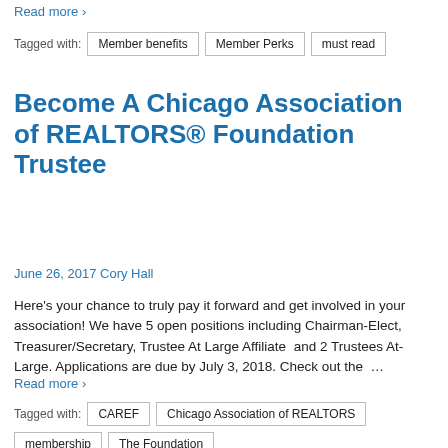Read more ›
Tagged with: Member benefits  Member Perks  must read
Become A Chicago Association of REALTORS® Foundation Trustee
June 26, 2017 Cory Hall
Here's your chance to truly pay it forward and get involved in your association! We have 5 open positions including Chairman-Elect, Treasurer/Secretary, Trustee At Large Affiliate  and 2 Trustees At-Large. Applications are due by July 3, 2018. Check out the …
Read more ›
Tagged with: CAREF  Chicago Association of REALTORS  membership  The Foundation